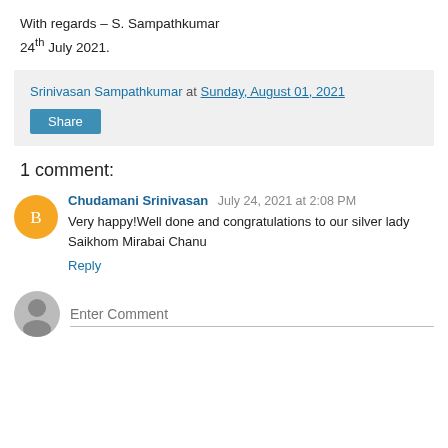With regards – S. Sampathkumar
24th July 2021.
Srinivasan Sampathkumar at Sunday, August 01, 2021
Share
1 comment:
Chudamani Srinivasan  July 24, 2021 at 2:08 PM
Very happy!Well done and congratulations to our silver lady Saikhom Mirabai Chanu
Reply
Enter Comment